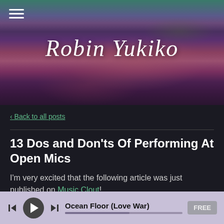[Figure (photo): Abstract painted background image with green, teal, purple, and dark red brushstrokes. Used as website header banner.]
Robin Yukiko
< Back to all posts
13 Dos and Don'ts Of Performing At Open Mics
I'm very excited that the following article was just published on Music Clout!
Ocean Floor (Love War) — FREE